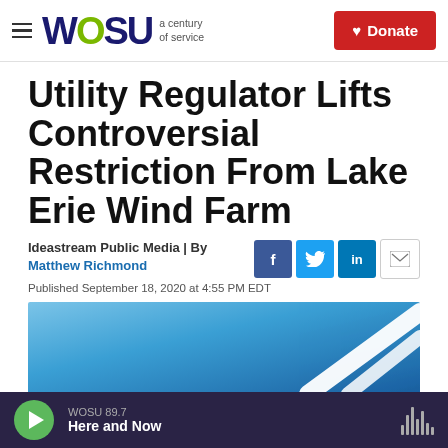WOSU a century of service | Donate
Utility Regulator Lifts Controversial Restriction From Lake Erie Wind Farm
Ideastream Public Media | By Matthew Richmond
Published September 18, 2020 at 4:55 PM EDT
[Figure (photo): Blue sky with wind turbine blades visible against the sky]
WOSU 89.7 Here and Now